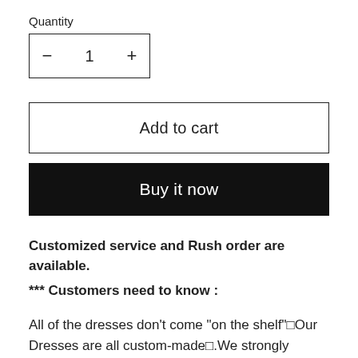Quantity
− 1 +
Add to cart
Buy it now
Customized service and Rush order are available.
*** Customers need to know :
All of the dresses don't come "on the shelf"□Our Dresses are all custom-made□.We strongly recommend you to select "Custom Made" to ensure